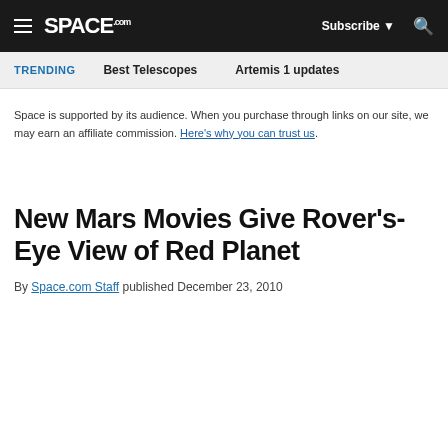SPACE.com — Subscribe | Search
TRENDING   Best Telescopes   Artemis 1 updates
Space is supported by its audience. When you purchase through links on our site, we may earn an affiliate commission. Here's why you can trust us.
New Mars Movies Give Rover's-Eye View of Red Planet
By Space.com Staff published December 23, 2010